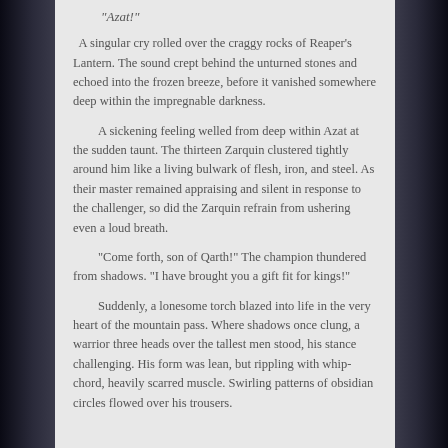“Azat!”
A singular cry rolled over the craggy rocks of Reaper’s Lantern. The sound crept behind the unturned stones and echoed into the frozen breeze, before it vanished somewhere deep within the impregnable darkness.
A sickening feeling welled from deep within Azat at the sudden taunt. The thirteen Zarquin clustered tightly around him like a living bulwark of flesh, iron, and steel. As their master remained appraising and silent in response to the challenger, so did the Zarquin refrain from ushering even a loud breath.
“Come forth, son of Qarth!” The champion thundered from shadows. “I have brought you a gift fit for kings!”
Suddenly, a lonesome torch blazed into life in the very heart of the mountain pass. Where shadows once clung, a warrior three heads over the tallest men stood, his stance challenging. His form was lean, but rippling with whip-chord, heavily scarred muscle. Swirling patterns of obsidian circles flowed over his trousers.